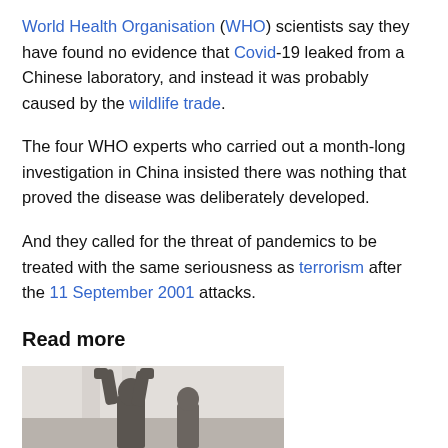World Health Organisation (WHO) scientists say they have found no evidence that Covid-19 leaked from a Chinese laboratory, and instead it was probably caused by the wildlife trade.
The four WHO experts who carried out a month-long investigation in China insisted there was nothing that proved the disease was deliberately developed.
And they called for the threat of pandemics to be treated with the same seriousness as terrorism after the 11 September 2001 attacks.
Read more
[Figure (photo): A person raising their fists in protest or celebration, partially visible at the bottom of the page]